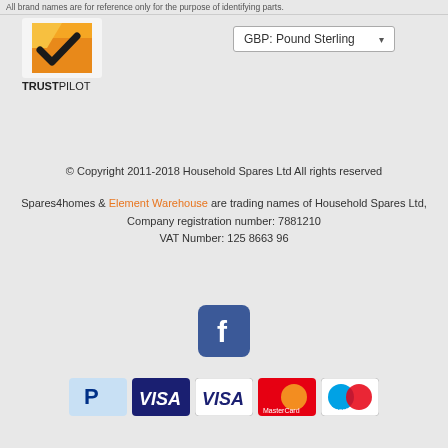All brand names are for reference only for the purpose of identifying parts.
[Figure (logo): Trustpilot logo with orange and black checkmark icon and TRUSTPILOT text]
[Figure (screenshot): GBP: Pound Sterling currency dropdown selector]
© Copyright 2011-2018 Household Spares Ltd All rights reserved
Spares4homes & Element Warehouse are trading names of Household Spares Ltd,
Company registration number: 7881210
VAT Number: 125 8663 96
[Figure (logo): Facebook social media icon (blue rounded square with white f)]
[Figure (logo): Payment method icons: PayPal, Visa (blue), Visa (white), MasterCard, Maestro]